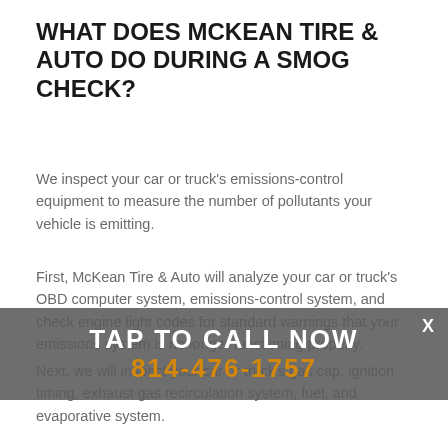WHAT DOES MCKEAN TIRE & AUTO DO DURING A SMOG CHECK?
We inspect your car or truck's emissions-control equipment to measure the number of pollutants your vehicle is emitting.
First, McKean Tire & Auto will analyze your car or truck's OBD computer system, emissions-control system, and check engine light codes for standard warnings that your emissions system is no longer functioning properly.
[Figure (infographic): Dark semi-transparent overlay banner with 'TAP TO CALL NOW' text in white and phone number '814-476-1757' in orange, with an X close button on the right.]
Next, we will inspect your car or truck's gas cap, ignition timing, exhaust gas recirculation system, fuel, and evaporative system.
Finally, we will perform a tailpipe emissions inspection which measures the type and quantity of any pollutant emitted from your vehicle's tailpipe.